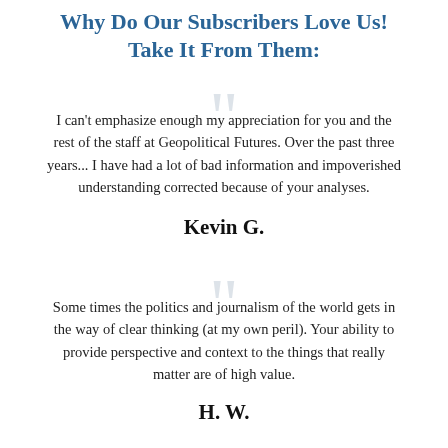Why Do Our Subscribers Love Us! Take It From Them:
I can't emphasize enough my appreciation for you and the rest of the staff at Geopolitical Futures. Over the past three years... I have had a lot of bad information and impoverished understanding corrected because of your analyses.
Kevin G.
Some times the politics and journalism of the world gets in the way of clear thinking (at my own peril). Your ability to provide perspective and context to the things that really matter are of high value.
H. W.